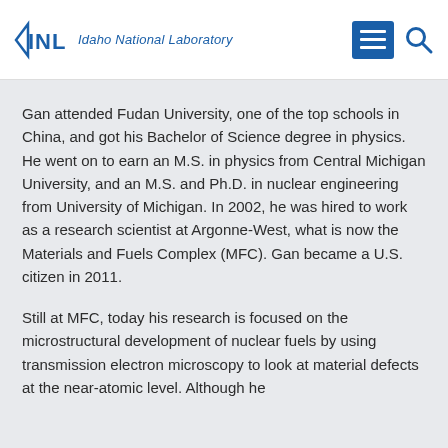[Figure (logo): Idaho National Laboratory (INL) logo with stylized INL letters and text 'Idaho National Laboratory']
Gan attended Fudan University, one of the top schools in China, and got his Bachelor of Science degree in physics. He went on to earn an M.S. in physics from Central Michigan University, and an M.S. and Ph.D. in nuclear engineering from University of Michigan. In 2002, he was hired to work as a research scientist at Argonne-West, what is now the Materials and Fuels Complex (MFC). Gan became a U.S. citizen in 2011.
Still at MFC, today his research is focused on the microstructural development of nuclear fuels by using transmission electron microscopy to look at material defects at the near-atomic level. Although he